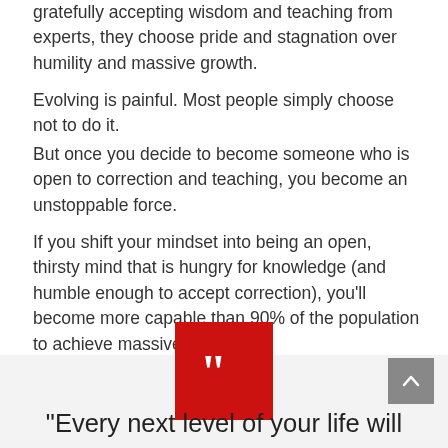gratefully accepting wisdom and teaching from experts, they choose pride and stagnation over humility and massive growth.
Evolving is painful. Most people simply choose not to do it.
But once you decide to become someone who is open to correction and teaching, you become an unstoppable force.
If you shift your mindset into being an open, thirsty mind that is hungry for knowledge (and humble enough to accept correction), you'll become more capable than 90% of the population to achieve massive success.
[Figure (illustration): Red square with white quotation mark icon]
“Every next level of your life will demand a different you.”- Leonardo DiCaprio